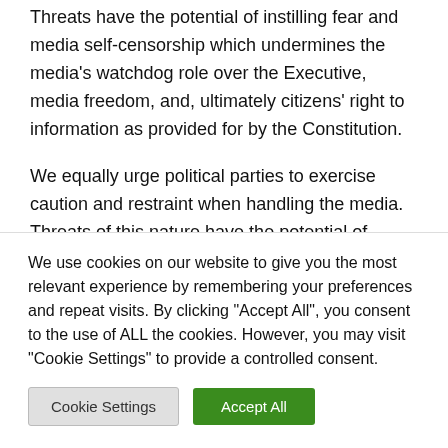Threats have the potential of instilling fear and media self-censorship which undermines the media's watchdog role over the Executive, media freedom, and, ultimately citizens' right to information as provided for by the Constitution.
We equally urge political parties to exercise caution and restraint when handling the media. Threats of this nature have the potential of exposing the journalist to harm as supporters of the party might take a cue from
We use cookies on our website to give you the most relevant experience by remembering your preferences and repeat visits. By clicking "Accept All", you consent to the use of ALL the cookies. However, you may visit "Cookie Settings" to provide a controlled consent.